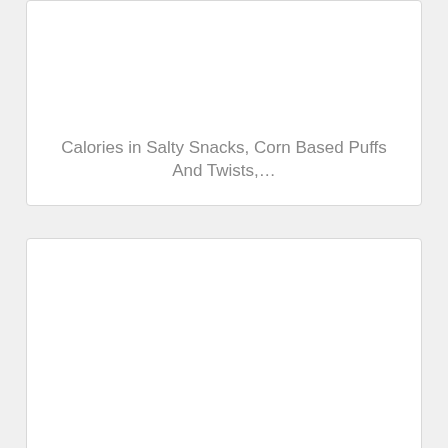Calories in Salty Snacks, Corn Based Puffs And Twists,…
Calories in Salty Snacks, Corn Or Cornmeal Base, Corn Puffs…